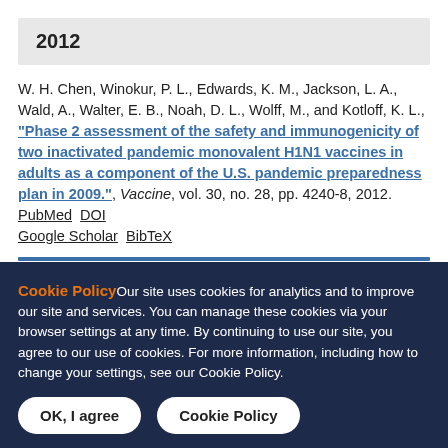2012
W. H. Chen, Winokur, P. L., Edwards, K. M., Jackson, L. A., Wald, A., Walter, E. B., Noah, D. L., Wolff, M., and Kotloff, K. L., "Phase 2 assessment of the safety and immunogenicity of two inactivated pandemic monovalent H1N1 vaccines in adults as a component of the U.S. pandemic preparedness plan in 2009.", Vaccine, vol. 30, no. 28, pp. 4240-8, 2012. PubMed DOI Google Scholar BibTeX
Cookie Policy Our site uses cookies for analytics and to improve our site and services. You can manage these cookies via your browser settings at any time. By continuing to use our site, you agree to our use of cookies. For more information, including how to change your settings, see our Cookie Policy.